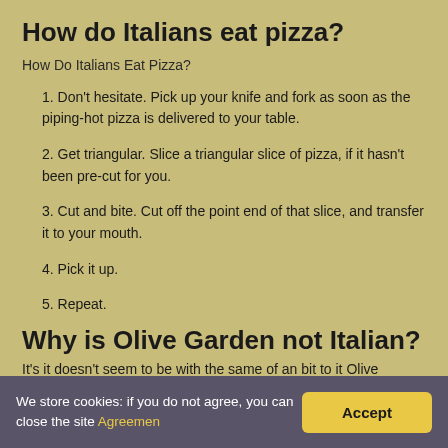How do Italians eat pizza?
How Do Italians Eat Pizza?
1. Don't hesitate. Pick up your knife and fork as soon as the piping-hot pizza is delivered to your table.
2. Get triangular. Slice a triangular slice of pizza, if it hasn't been pre-cut for you.
3. Cut and bite. Cut off the point end of that slice, and transfer it to your mouth.
4. Pick it up.
5. Repeat.
Why is Olive Garden not Italian?
It's it doesn't seem to be with the same of an bit to it Olive
We store cookies: if you do not agree, you can close the site Agreemen